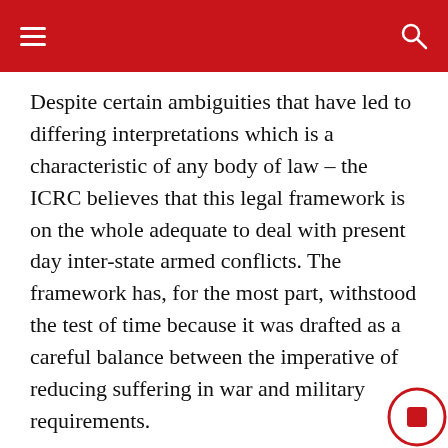Despite certain ambiguities that have led to differing interpretations which is a characteristic of any body of law – the ICRC believes that this legal framework is on the whole adequate to deal with present day inter-state armed conflicts. The framework has, for the most part, withstood the test of time because it was drafted as a careful balance between the imperative of reducing suffering in war and military requirements.
The four Geneva Conventions of 1949 have been ratified by almost the entire community